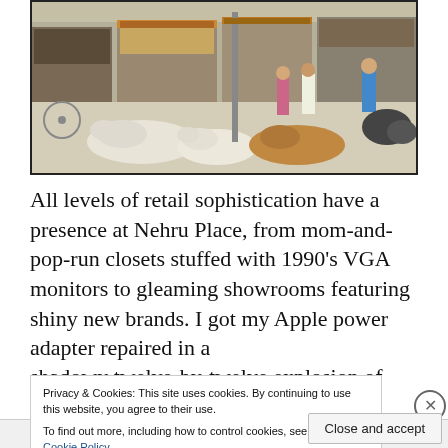[Figure (photo): Street scene in Nehru Place, India, showing cows lying on the pavement with people and shops in the background]
All levels of retail sophistication have a presence at Nehru Place, from mom-and-pop-run closets stuffed with 1990's VGA monitors to gleaming showrooms featuring shiny new brands. I got my Apple power adapter repaired in a shadowy twelve-by-twelve explosion of wires and
Privacy & Cookies: This site uses cookies. By continuing to use this website, you agree to their use.
To find out more, including how to control cookies, see here: Cookie Policy
Close and accept